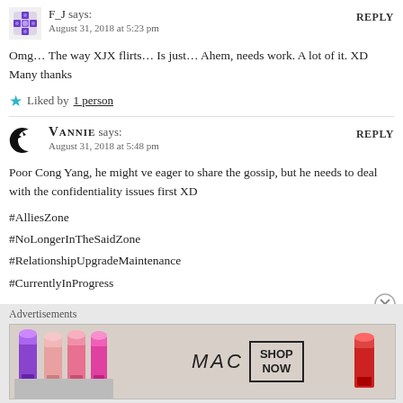F_J says:
August 31, 2018 at 5:23 pm
Omg… The way XJX flirts… Is just… Ahem, needs work. A lot of it. XD
Many thanks
Liked by 1 person
Vannie says:
August 31, 2018 at 5:48 pm
Poor Cong Yang, he might ve eager to share the gossip, but he needs to deal with the confidentiality issues first XD
#AlliesZone
#NoLongerInTheSaidZone
#RelationshipUpgradeMaintenance
#CurrentlyInProgress
Advertisements
[Figure (photo): MAC cosmetics advertisement banner showing lipsticks in purple, pink and red colors with MAC logo and SHOP NOW box]